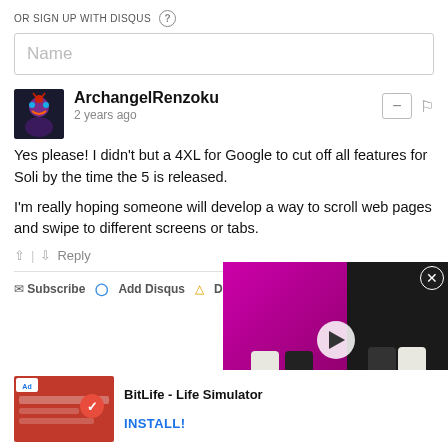OR SIGN UP WITH DISQUS (?)
Name
ArchangelRenzoku
2 years ago
Yes please! I didn't but a 4XL for Google to cut off all features for Soli by the time the 5 is released.

I'm really hoping someone will develop a way to scroll web pages and swipe to different screens or tabs.
↑ | ↓  Reply
✉ Subscribe  ⊙ Add Disqus  ▲ Do No
[Figure (screenshot): Video thumbnail showing 'Z Flip4 VS Z Flip3' comparison with play button and close (X) button]
[Figure (screenshot): Ad image for BitLife - Life Simulator with ad badge]
BitLife - Life Simulator
INSTALL!